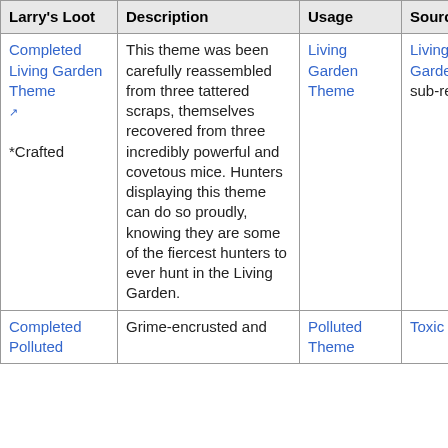| Larry's Loot | Description | Usage | Source | Image |
| --- | --- | --- | --- | --- |
| Completed Living Garden Theme ↗ *Crafted | This theme was been carefully reassembled from three tattered scraps, themselves recovered from three incredibly powerful and covetous mice. Hunters displaying this theme can do so proudly, knowing they are some of the fiercest hunters to ever hunt in the Living Garden. | Living Garden Theme | Living Garden sub-region | Image |
| Completed Polluted... | Grime-encrusted and... | Polluted Theme | Toxic Spill | Image |